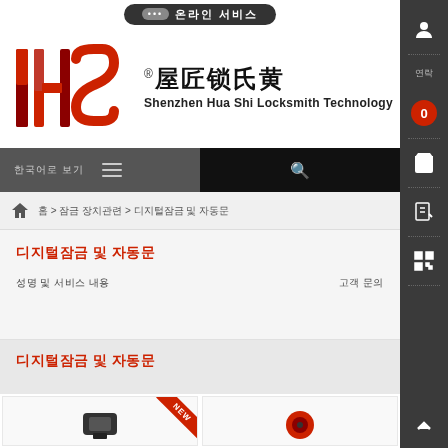온라인 서비스
[Figure (logo): HS Shenzhen Hua Shi Locksmith Technology logo with Chinese characters 屋匠锁氏黄]
내비게이션 바 (검색 포함)
홈 > 잠금 장치관련 > 디지털잠금 및 자동문
디지털잠금 및 자동문
성명 및 서비스 내용
고객 문의
디지털잠금 및 자동문
[Figure (photo): Product card 1 with NEW badge]
[Figure (photo): Product card 2]